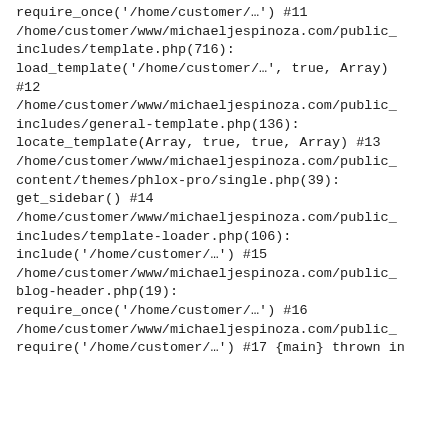require_once('/home/customer/…') #11 /home/customer/www/michaeljespinoza.com/public_includes/template.php(716): load_template('/home/customer/…', true, Array) #12 /home/customer/www/michaeljespinoza.com/public_includes/general-template.php(136): locate_template(Array, true, true, Array) #13 /home/customer/www/michaeljespinoza.com/public_content/themes/phlox-pro/single.php(39): get_sidebar() #14 /home/customer/www/michaeljespinoza.com/public_includes/template-loader.php(106): include('/home/customer/…') #15 /home/customer/www/michaeljespinoza.com/public_blog-header.php(19): require_once('/home/customer/…') #16 /home/customer/www/michaeljespinoza.com/public_require('/home/customer/…') #17 {main} thrown in